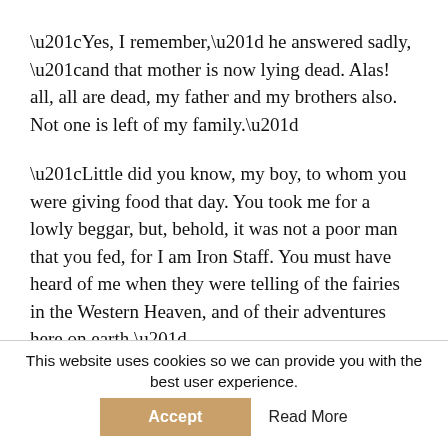“Yes, I remember,” he answered sadly, “and that mother is now lying dead. Alas! all, all are dead, my father and my brothers also. Not one is left of my family.”
“Little did you know, my boy, to whom you were giving food that day. You took me for a lowly beggar, but, behold, it was not a poor man that you fed, for I am Iron Staff. You must have heard of me when they were telling of the fairies in the Western Heaven, and of their adventures here on earth.”
“Yes, yes,” answered Ying-lo, trembling half with fear
This website uses cookies so we can provide you with the best user experience.  Accept  Read More